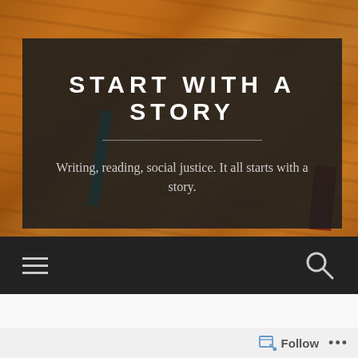[Figure (photo): Background photograph of stacked books with orange/amber spines and covers, viewed at an angle with blurred motion effect]
START WITH A STORY
Writing, reading, social justice. It all starts with a story.
[Figure (infographic): Dark navigation bar with hamburger menu icon on the left and search (magnifying glass) icon on the right]
Follow
...